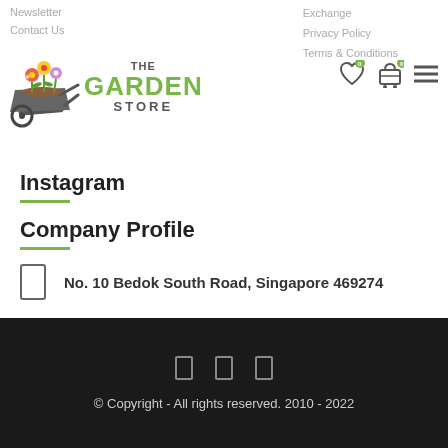Newsletter
Contact Us
[Figure (logo): The Garden Store logo with wheelbarrow and flowers graphic, green text]
Exchange
Privacy Policy
Terms & Conditions
Instagram
Company Profile
No. 10 Bedok South Road, Singapore 469274
+65 6448 8602
enquiry@thegardenstore.sg
© Copyright - All rights reserved. 2010 - 2022